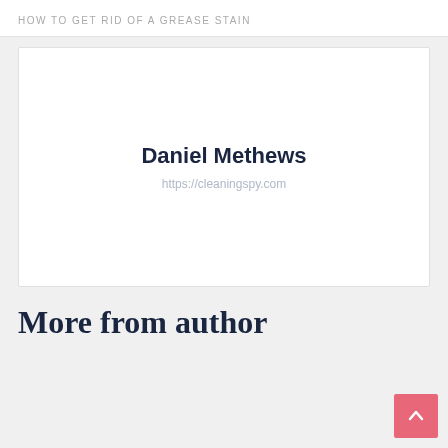HOW TO GET RID OF A GREASE STAIN
[Figure (other): Author card with name Daniel Methews and website URL https://cleaningspy.com]
More from author